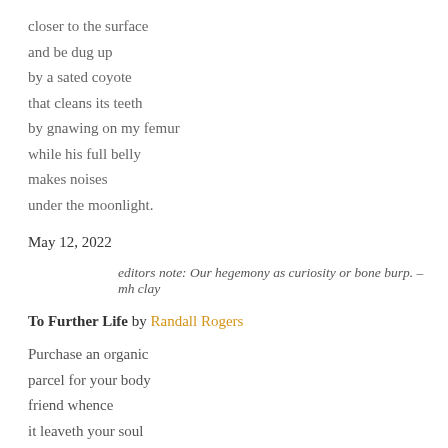closer to the surface
and be dug up
by a sated coyote
that cleans its teeth
by gnawing on my femur
while his full belly
makes noises
under the moonlight.
May 12, 2022
editors note: Our hegemony as curiosity or bone burp. – mh clay
To Further Life by Randall Rogers
Purchase an organic
parcel for your body
friend whence
it leaveth your soul
to bluster and rot